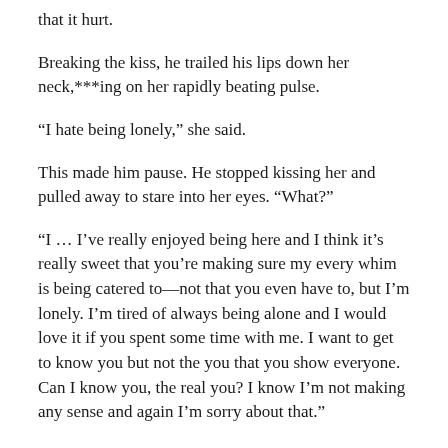that it hurt.
Breaking the kiss, he trailed his lips down her neck,***ing on her rapidly beating pulse.
“I hate being lonely,” she said.
This made him pause. He stopped kissing her and pulled away to stare into her eyes. “What?”
“I … I’ve really enjoyed being here and I think it’s really sweet that you’re making sure my every whim is being catered to—not that you even have to, but I’m lonely. I’m tired of always being alone and I would love it if you spent some time with me. I want to get to know you but not the you that you show everyone. Can I know you, the real you? I know I’m not making any sense and again I’m sorry about that.”